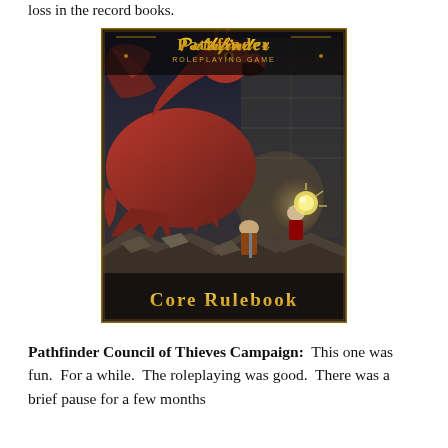loss in the record books.
[Figure (illustration): Cover of the Pathfinder Roleplaying Game Core Rulebook, showing a red dragon fighting adventurers in a dungeon setting. The title 'PATHFINDER ROLEPLAYING GAME' appears at the top in decorative golden lettering, and 'CORE RULEBOOK' appears at the bottom in golden letters.]
Pathfinder Council of Thieves Campaign: This one was fun. For a while. The roleplaying was good. There was a brief pause for a few months